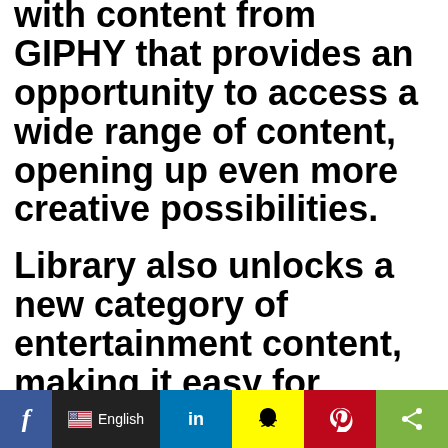with content from GIPHY that provides an opportunity to access a wide range of content, opening up even more creative possibilities.
Library also unlocks a new category of entertainment content, making it easy for people to start or participate in their own
[Figure (screenshot): Social media share bar with Facebook, English language selector, LinkedIn, Snapchat, Pinterest, and Share buttons]